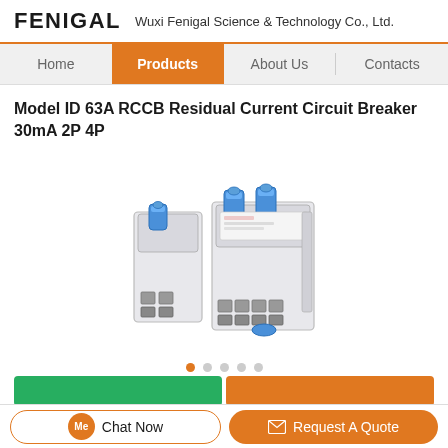FENIGAL   Wuxi Fenigal Science & Technology Co., Ltd.
[Figure (screenshot): Navigation bar with Home, Products (active/highlighted in orange), About Us, and Contacts menu items]
Model ID 63A RCCB Residual Current Circuit Breaker 30mA 2P 4P
[Figure (photo): Photo of two RCCB residual current circuit breakers - a 2P and a 4P version - in white/grey housing with blue handles, shown on white background]
[Figure (other): Slider navigation dots: 5 dots, first one active in orange]
[Figure (other): Two partially visible CTA buttons at bottom: green Get Best Price button and orange Contact Us button]
Chat Now
Request A Quote